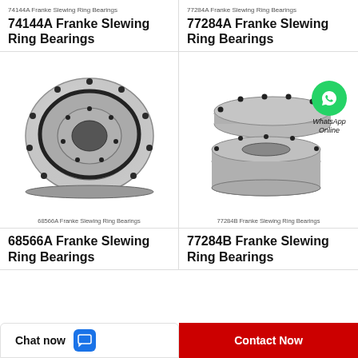74144A Franke Slewing Ring Bearings
74144A Franke Slewing Ring Bearings
77284A Franke Slewing Ring Bearings
77284A Franke Slewing Ring Bearings
[Figure (photo): 74144A Franke Slewing Ring Bearing - round flat slewing ring bearing with bolt holes]
68566A Franke Slewing Ring Bearings
[Figure (photo): 77284B Franke Slewing Ring Bearing - stacked slewing rings with WhatsApp Online overlay]
77284B Franke Slewing Ring Bearings
68566A Franke Slewing Ring Bearings
77284B Franke Slewing Ring Bearings
Chat now
Contact Now